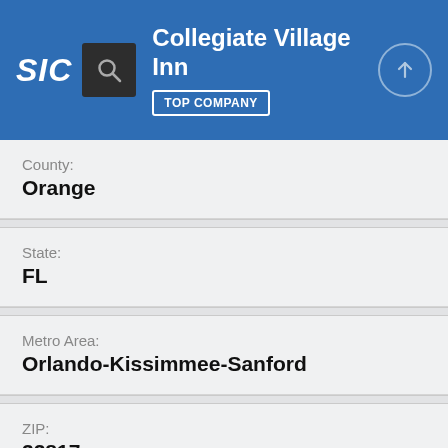SIC | Collegiate Village Inn | TOP COMPANY
County:
Orange
State:
FL
Metro Area:
Orlando-Kissimmee-Sanford
ZIP:
32817
Area Code: